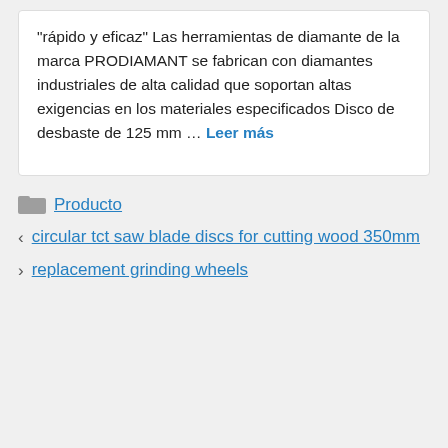"rápido y eficaz" Las herramientas de diamante de la marca PRODIAMANT se fabrican con diamantes industriales de alta calidad que soportan altas exigencias en los materiales especificados Disco de desbaste de 125 mm … Leer más
Producto
< circular tct saw blade discs for cutting wood 350mm
> replacement grinding wheels